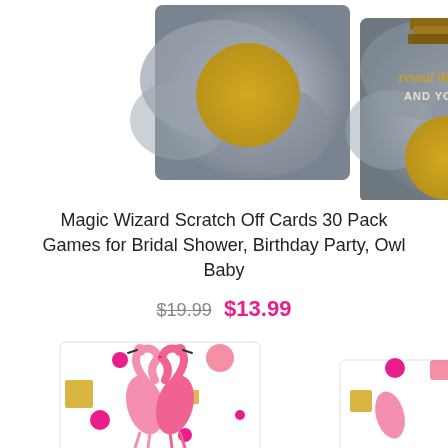[Figure (photo): Two scratch-off cards with wizard/potion theme. Left card shows a large gold scratch-off circle on a grey misty background. Right card shows text 'reveal the potion AND YOU WIN' with a gold scratch-off circle below, also on a grey misty background with a stack of books at top.]
Magic Wizard Scratch Off Cards 30 Pack Games for Bridal Shower, Birthday Party, Owl Baby
$19.99  $13.99
[Figure (photo): Two scratch-off cards with flamingo theme. Left card shows two pink flamingos forming a heart shape with necks, on a white background with pink polka dots and gold glitter squares. Right card partially visible showing similar flamingo design.]